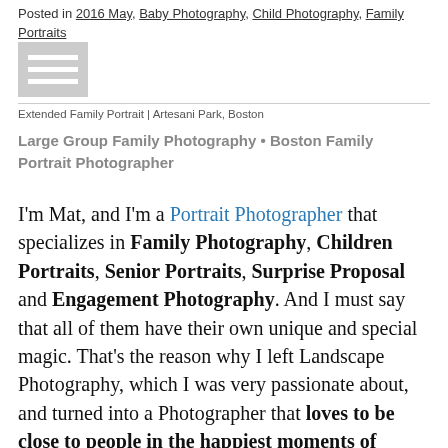Posted in 2016 May, Baby Photography, Child Photography, Family Portraits
[Figure (other): Hamburger menu icon / grey square with three white horizontal lines]
Extended Family Portrait | Artesani Park, Boston
Large Group Family Photography • Boston Family Portrait Photographer
I'm Mat, and I'm a Portrait Photographer that specializes in Family Photography, Children Portraits, Senior Portraits, Surprise Proposal and Engagement Photography. And I must say that all of them have their own unique and special magic. That's the reason why I left Landscape Photography, which I was very passionate about, and turned into a Photographer that loves to be close to people in the happiest moments of